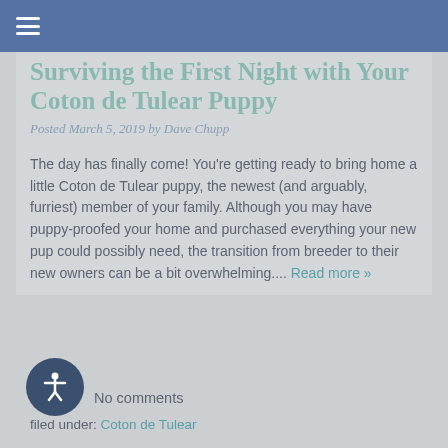≡
Surviving the First Night with Your Coton de Tulear Puppy
Posted March 5, 2019 by Dave Chupp
The day has finally come! You're getting ready to bring home a little Coton de Tulear puppy, the newest (and arguably, furriest) member of your family. Although you may have puppy-proofed your home and purchased everything your new pup could possibly need, the transition from breeder to their new owners can be a bit overwhelming.... Read more »
No comments
filed under: Coton de Tulear